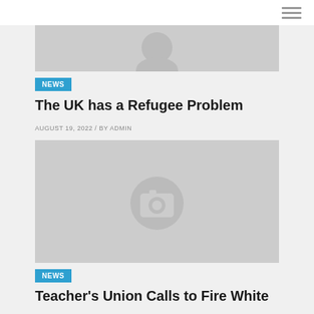[Figure (photo): Gray placeholder image with person silhouette, partially cropped at top of page]
NEWS
The UK has a Refugee Problem
AUGUST 19, 2022 / BY ADMIN
[Figure (photo): Gray placeholder image with camera icon in center]
NEWS
Teacher's Union Calls to Fire White